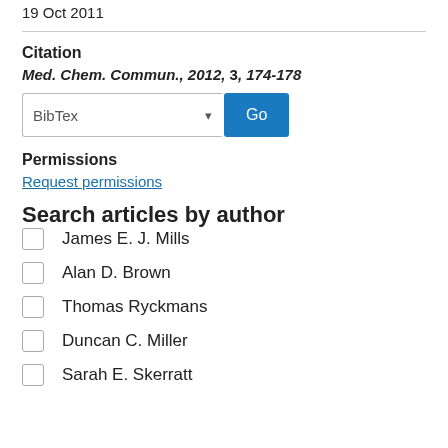19 Oct 2011
Citation
Med. Chem. Commun., 2012, 3, 174-178
BibTex [dropdown] Go
Permissions
Request permissions
Search articles by author
James E. J. Mills
Alan D. Brown
Thomas Ryckmans
Duncan C. Miller
Sarah E. Skerratt